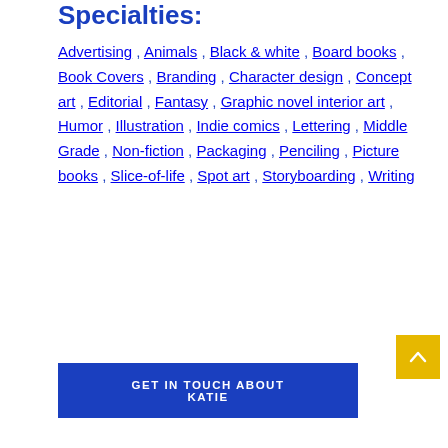Specialties:
Advertising , Animals , Black & white , Board books , Book Covers , Branding , Character design , Concept art , Editorial , Fantasy , Graphic novel interior art , Humor , Illustration , Indie comics , Lettering , Middle Grade , Non-fiction , Packaging , Penciling , Picture books , Slice-of-life , Spot art , Storyboarding , Writing
[Figure (other): Yellow back-to-top button with upward arrow chevron]
GET IN TOUCH ABOUT KATIE